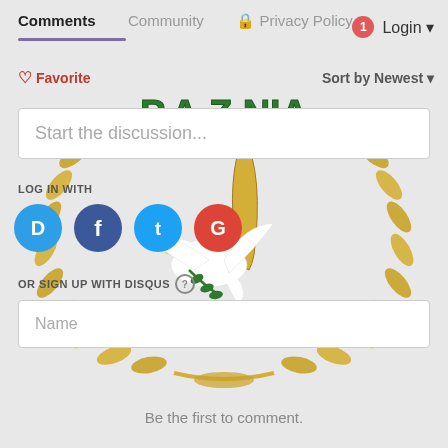Comments  Community  🔒 Privacy Policy
1  Login ▾
♡ Favorite
Sort by Newest ▾
[Figure (logo): Decorative logo with gold laurel wreath, green text 'P.A.Z.NIA', a white dove holding an olive branch, and a golden torch/pen, overlaid in the background behind the Disqus comment widget.]
Start the discussion...
LOG IN WITH
[Figure (infographic): Four circular social login buttons: Disqus (blue, D), Facebook (dark blue, f), Twitter (light blue, bird/t), Google (red, G)]
OR SIGN UP WITH DISQUS ⓘ
Name
Be the first to comment.